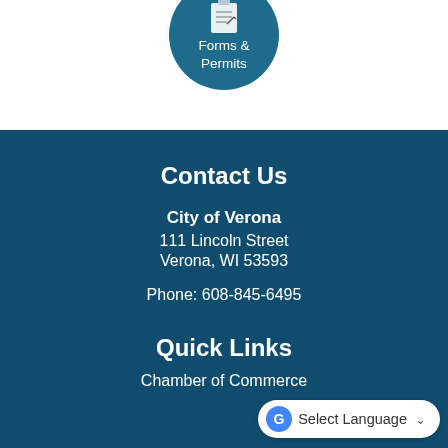[Figure (illustration): Teal circular button icon with a clipboard/forms image and text 'Forms & Permits' on a white background]
Contact Us
City of Verona
111 Lincoln Street
Verona, WI 53593
Phone: 608-845-6495
Quick Links
Chamber of Commerce